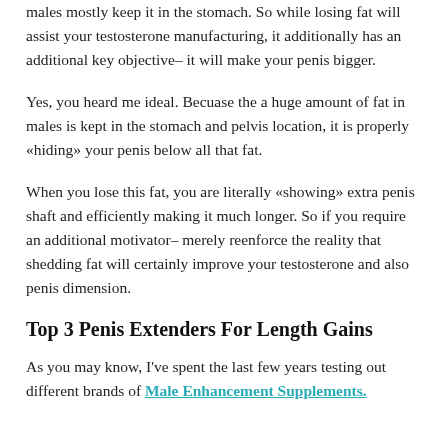males mostly keep it in the stomach. So while losing fat will assist your testosterone manufacturing, it additionally has an additional key objective– it will make your penis bigger.
Yes, you heard me ideal. Becuase the a huge amount of fat in males is kept in the stomach and pelvis location, it is properly «hiding» your penis below all that fat.
When you lose this fat, you are literally «showing» extra penis shaft and efficiently making it much longer. So if you require an additional motivator– merely reenforce the reality that shedding fat will certainly improve your testosterone and also penis dimension.
Top 3 Penis Extenders For Length Gains
As you may know, I've spent the last few years testing out different brands of Male Enhancement Supplements.